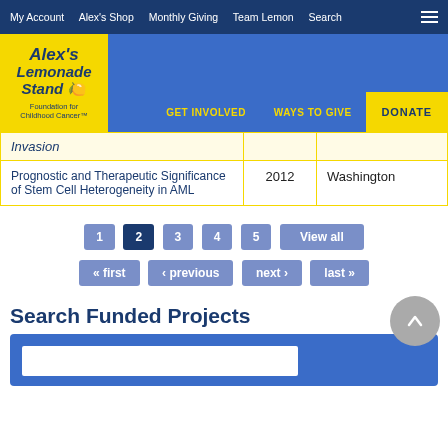My Account  Alex's Shop  Monthly Giving  Team Lemon  Search
[Figure (logo): Alex's Lemonade Stand Foundation for Childhood Cancer logo with yellow background]
GET INVOLVED  WAYS TO GIVE  DONATE
| Title | Year | State |
| --- | --- | --- |
| Invasion |  |  |
| Prognostic and Therapeutic Significance of Stem Cell Heterogeneity in AML | 2012 | Washington |
1
2
3
4
5
View all
« first
‹ previous
next ›
last »
Search Funded Projects